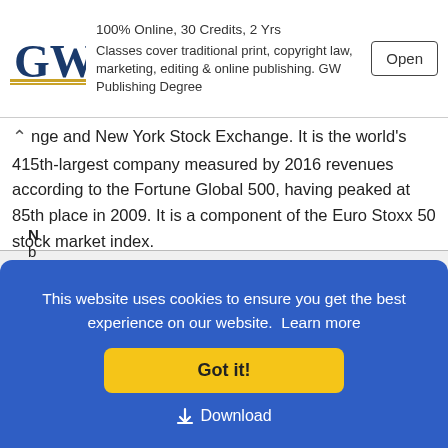[Figure (screenshot): GW University advertisement banner with logo, text about publishing degree, and Open button]
ange and New York Stock Exchange. It is the world's 415th-largest company measured by 2016 revenues according to the Fortune Global 500, having peaked at 85th place in 2009. It is a component of the Euro Stoxx 50 stock market index.
| Name | File Type | File Size |
| --- | --- | --- |
| NOKIA Logo | .cdr .PDF .AI .PNG (zip) | 626 Kb |
[Figure (screenshot): Cookie consent banner overlay in blue with Got it! button and Download link]